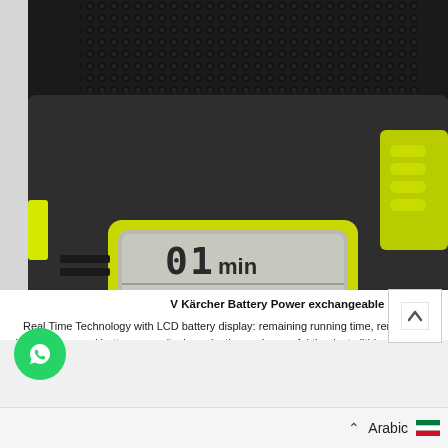[Figure (photo): Close-up photo of a Kärcher Battery Power 18V exchangeable battery with yellow LCD display showing remaining minutes and battery charge indicator on a dark grey battery body with yellow accents]
V Kärcher Battery Power exchangeable battery 18
Real Time Technology with LCD battery display: remaining running time, remaining charging time and battery capacity. Long-lasting and powerful thanks to lithium-ion cells. Compatible with all devices on the 18 V Kärcher Battery Power battery platform